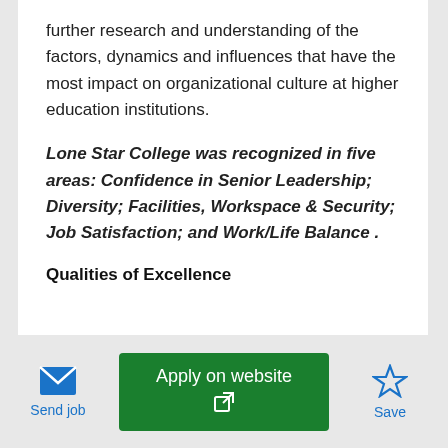further research and understanding of the factors, dynamics and influences that have the most impact on organizational culture at higher education institutions.
Lone Star College was recognized in five areas: Confidence in Senior Leadership; Diversity; Facilities, Workspace & Security; Job Satisfaction; and Work/Life Balance .
Qualities of Excellence
Send job | Apply on website | Save